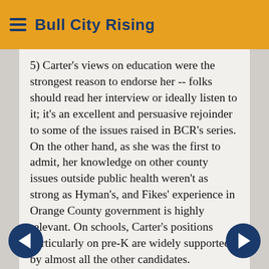Bull City Rising
5) Carter's views on education were the strongest reason to endorse her -- folks should read her interview or ideally listen to it; it's an excellent and persuasive rejoinder to some of the issues raised in BCR's series. On the other hand, as she was the first to admit, her knowledge on other county issues outside public health weren't as strong as Hyman's, and Fikes' experience in Orange County government is highly relevant. On schools, Carter's positions particularly on pre-K are widely supported by almost all the other candidates.
TBH, I fret that my extended explainer above